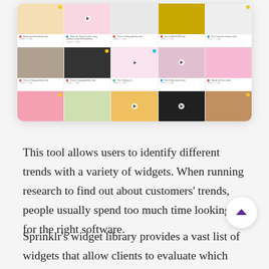[Figure (screenshot): Screenshot of a social media or content management grid interface showing a 3-row by 5-column grid of beauty/cosmetics related images including makeup products, models, and accessories. Each cell has a small caption with a colored dot indicator below the image thumbnail.]
This tool allows users to identify different trends with a variety of widgets. When running research to find out about customers’ trends, people usually spend too much time looking for the right software.
Sprinklr’s widget library provides a vast list of widgets that allow clients to evaluate which trends could benefit them. For example, there’s a widget that demonstrates the